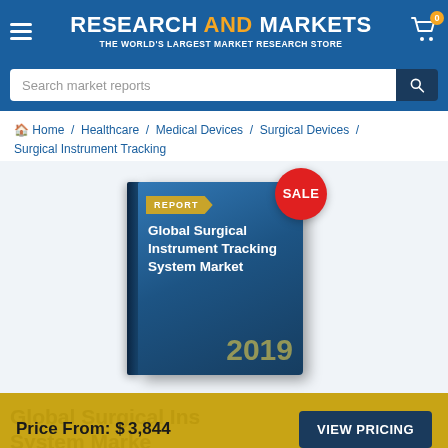RESEARCH AND MARKETS — THE WORLD'S LARGEST MARKET RESEARCH STORE
Search market reports
Home / Healthcare / Medical Devices / Surgical Devices / Surgical Instrument Tracking
[Figure (illustration): Book cover for 'Global Surgical Instrument Tracking System Market 2019' report with a SALE badge, displayed on a light blue background]
Price From: $3,844  VIEW PRICING